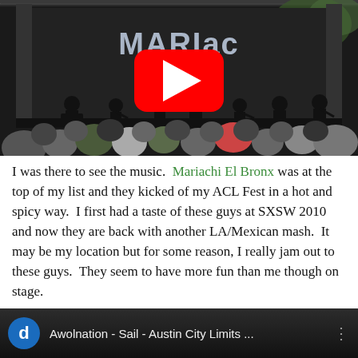[Figure (photo): A concert stage photo showing musicians performing on stage with 'Mariachi El Bronx' banner visible. A YouTube play button overlay is shown in the center. A crowd of people is visible in the foreground.]
I was there to see the music.  Mariachi El Bronx was at the top of my list and they kicked of my ACL Fest in a hot and spicy way.  I first had a taste of these guys at SXSW 2010 and now they are back with another LA/Mexican mash.  It may be my location but for some reason, I really jam out to these guys.  They seem to have more fun than me though on stage.
[Figure (screenshot): YouTube video thumbnail at the bottom showing 'Awolnation - Sail - Austin City Limits ...' with a blue circular avatar with letter 'd' and menu dots.]